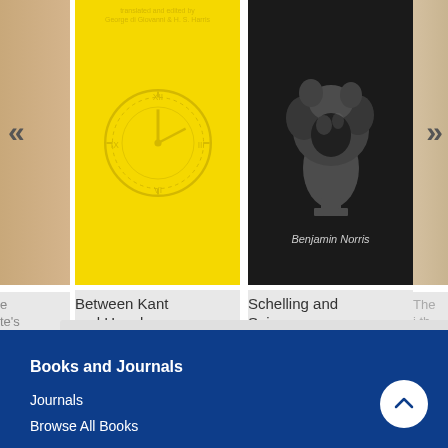[Figure (screenshot): Book carousel showing two full book covers: 'Between Kant and Hegel' (yellow cover with clock/compass design) and 'Schelling and Spinoza' (dark cover with tree-like fractal image by Benjamin Norris). Left and right navigation arrows visible. Partial book covers at left and right edges.]
Between Kant and Hegel
Schelling and Spinoza
The
i th
Sno
Books and Journals
Journals
Browse All Books